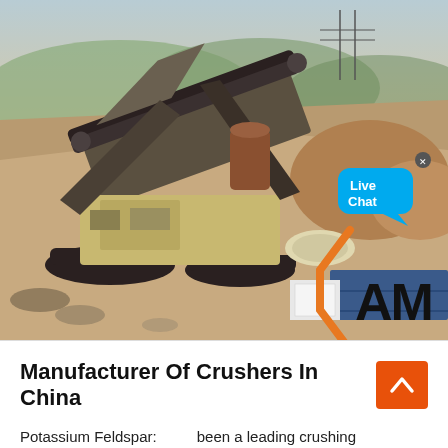[Figure (photo): Aerial/overhead view of a large mobile jaw crusher machine at a quarry or mining site in China. The crusher is on tracks, surrounded by excavated earth, rocks, and construction equipment. Mountains visible in the background. An orange and black 'AM' logo watermark is visible in the lower right. A blue 'Live Chat' speech bubble overlay appears in the upper right.]
Manufacturer Of Crushers In China
Potassium Feldspar:    been a leading crushing